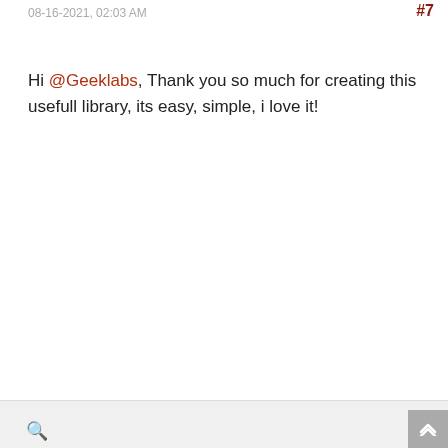08-16-2021, 02:03 AM
#7
Hi @Geeklabs, Thank you so much for creating this usefull library, its easy, simple, i love it!
sriram_ci
Newbie
★
Posts: 3
Reputation: 0
09-25-2021, 01:09 AM
#8